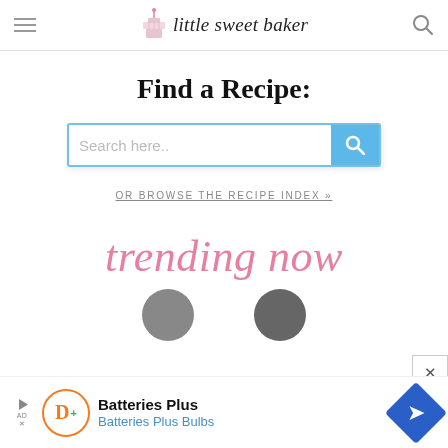little sweet baker
Find a Recipe:
Search here..
OR BROWSE THE RECIPE INDEX »
trending now
[Figure (other): Two circular thumbnail images at the bottom of the page, partially visible]
[Figure (other): Advertisement banner: Batteries Plus / Batteries Plus Bulbs with orange circular logo and blue diamond direction sign]